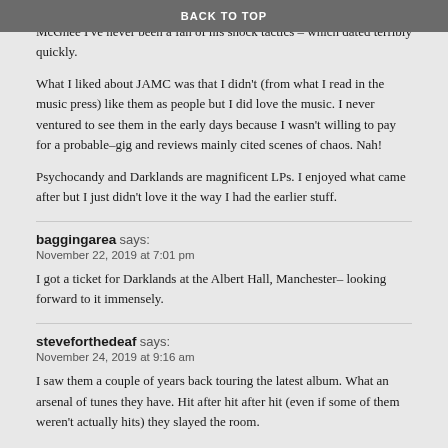BACK TO TOP
McGhee I've never been a fan of his shock tactics – which dated terribly quickly.
What I liked about JAMC was that I didn't (from what I read in the music press) like them as people but I did love the music. I never ventured to see them in the early days because I wasn't willing to pay for a probable–gig and reviews mainly cited scenes of chaos. Nah!
Psychocandy and Darklands are magnificent LPs. I enjoyed what came after but I just didn't love it the way I had the earlier stuff.
baggingarea says:
November 22, 2019 at 7:01 pm
I got a ticket for Darklands at the Albert Hall, Manchester– looking forward to it immensely.
steveforthedeaf says:
November 24, 2019 at 9:16 am
I saw them a couple of years back touring the latest album. What an arsenal of tunes they have. Hit after hit after hit (even if some of them weren't actually hits) they slayed the room.